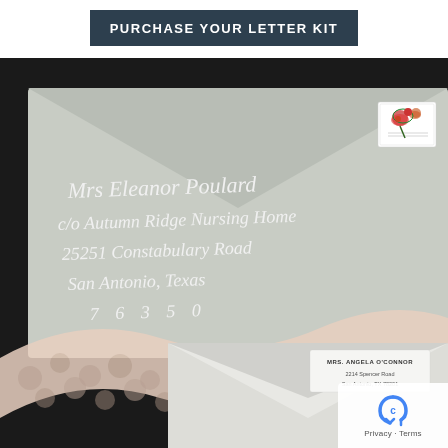PURCHASE YOUR LETTER KIT
[Figure (photo): A styled photo showing two gray envelopes with calligraphy addressing and a decorative lace ribbon. The top envelope is addressed to Mrs. Eleanor Poulard c/o Autumn Ridge Nursing Home, 25251 Constabulary Road, San Antonio, Texas 76350, with a floral stamp. The bottom envelope shows a return address label: Mrs. Angela O'Connor, 2214 Spencer Road, San Antonio, TX 78201. A pink floral lace ribbon is draped decoratively across both envelopes against a dark background.]